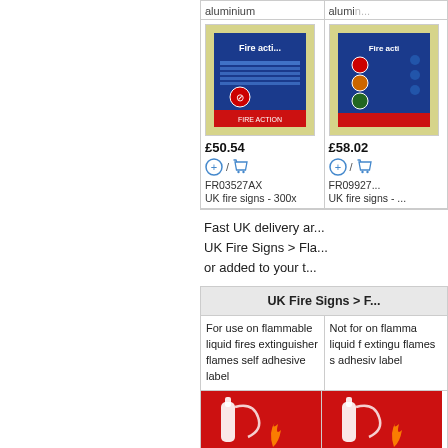| aluminium | alumin... |
| --- | --- |
| [fire sign image] | [fire sign image] |
| £50.54 | £58.02 |
| FR03527AX UK fire signs - 300x | FR09927... UK fire signs - ... |
Fast UK delivery ar... UK Fire Signs > Fla... or added to your t...
| UK Fire Signs > F... |
| --- |
| For use on flammable liquid fires extinguisher flames self adhesive label | Not for on flamma liquid f extingu flames s adhesiv label |
| [fire extinguisher image] | [fire extinguisher image] |